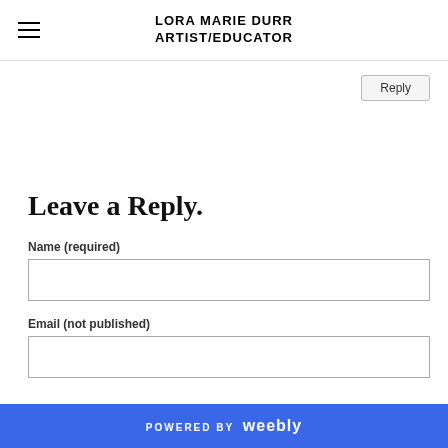LORA MARIE DURR ARTIST/EDUCATOR
Reply
Leave a Reply.
Name (required)
Email (not published)
POWERED BY weebly